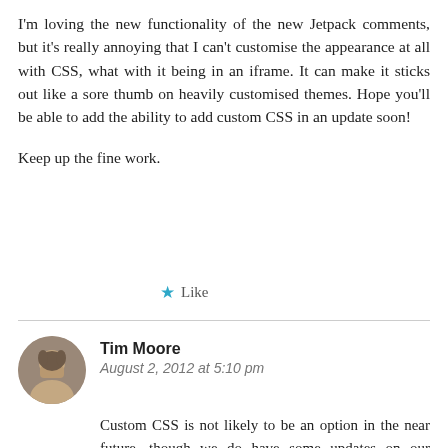I'm loving the new functionality of the new Jetpack comments, but it's really annoying that I can't customise the appearance at all with CSS, what with it being in an iframe. It can make it sticks out like a sore thumb on heavily customised themes. Hope you'll be able to add the ability to add custom CSS in an update soon!

Keep up the fine work.
★ Like
Tim Moore
August 2, 2012 at 5:10 pm
Custom CSS is not likely to be an option in the near future, though we do have some updates on our roadmap to make Jetpack Comments